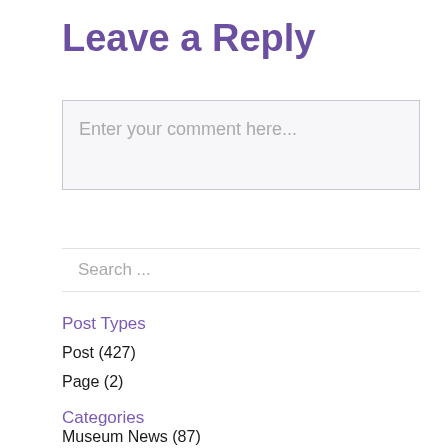Leave a Reply
Enter your comment here...
Search ...
Post Types
Post (427)
Page (2)
Categories
Museum News (87)